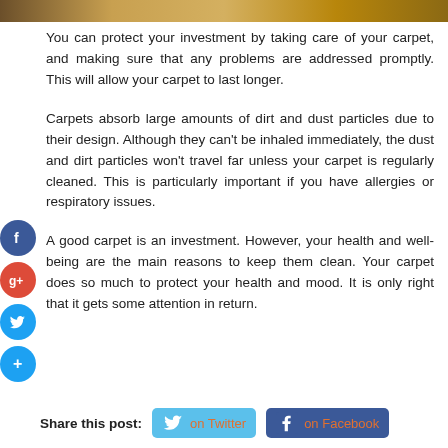[Figure (photo): Partial image at top of page showing carpet or flooring in warm/gold tones]
You can protect your investment by taking care of your carpet, and making sure that any problems are addressed promptly. This will allow your carpet to last longer.
Carpets absorb large amounts of dirt and dust particles due to their design. Although they can't be inhaled immediately, the dust and dirt particles won't travel far unless your carpet is regularly cleaned. This is particularly important if you have allergies or respiratory issues.
A good carpet is an investment. However, your health and well-being are the main reasons to keep them clean. Your carpet does so much to protect your health and mood. It is only right that it gets some attention in return.
Share this post: on Twitter on Facebook